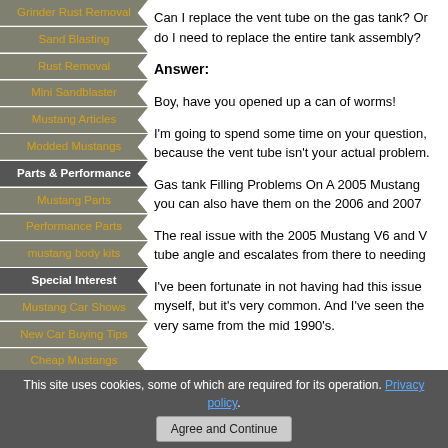Grinder Rust Removal
Sand Blasting
Rust Removal
Mini Sandblaster
Mustang Articles
Modded Mustangs
Parts & Performance
Mustang Parts
Performance Parts
mustang body kits
Special Interest
Mustang Car Shows
New Car Buying Tips
Cheap Mustangs
Mustang Blog
2011 Mustang Car Shows
Mustang News
Can I replace the vent tube on the gas tank? Or do I need to replace the entire tank assembly?
Answer:
Boy, have you opened up a can of worms!
I'm going to spend some time on your question, because the vent tube isn't your actual problem.
Gas tank Filling Problems On A 2005 Mustang you can also have them on the 2006 and 2007
The real issue with the 2005 Mustang V6 and V8 tube angle and escalates from there to needing
I've been fortunate in not having had this issue myself, but it's very common. And I've seen the very same from the mid 1990's.
This site uses cookies, some of which are required for its operation. Privacy policy
Agree and Continue